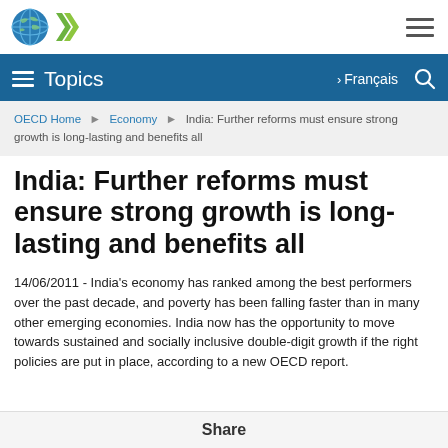OECD logo and navigation
Topics | Français | Search
OECD Home > Economy > India: Further reforms must ensure strong growth is long-lasting and benefits all
India: Further reforms must ensure strong growth is long-lasting and benefits all
14/06/2011 - India's economy has ranked among the best performers over the past decade, and poverty has been falling faster than in many other emerging economies. India now has the opportunity to move towards sustained and socially inclusive double-digit growth if the right policies are put in place, according to a new OECD report.
Share